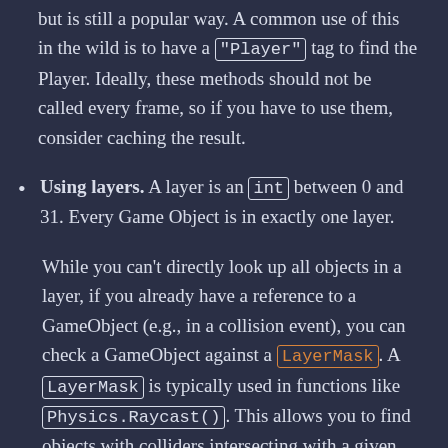but is still a popular way. A common use of this in the wild is to have a "Player" tag to find the Player. Ideally, these methods should not be called every frame, so if you have to use them, consider caching the result.
Using layers. A layer is an int between 0 and 31. Every Game Object is in exactly one layer.
While you can't directly look up all objects in a layer, if you already have a reference to a GameObject (e.g., in a collision event), you can check a GameObject against a LayerMask. A LayerMask is typically used in functions like Physics.Raycast(). This allows you to find objects with colliders intersecting with a given ray. Passing a LayerMask to Physics.Raycast()